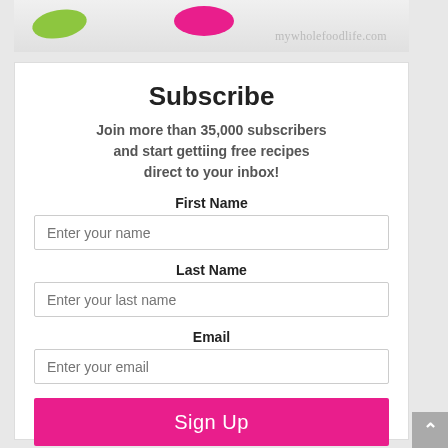[Figure (photo): Website header banner for mywholefoodlife.com with colorful dots (green and pink) on white background with site URL watermark]
Subscribe
Join more than 35,000 subscribers and start gettiing free recipes direct to your inbox!
First Name
Enter your name
Last Name
Enter your last name
Email
Enter your email
Sign Up